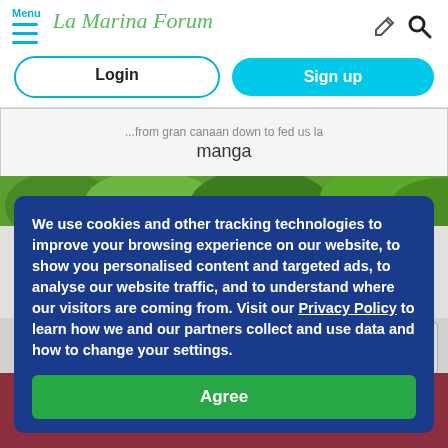Menu | La Marina Forum
Login | Sign up
...from gran canaan down to fed us la manga
We use cookies and other tracking technologies to improve your browsing experience on our website, to show you personalised content and targeted ads, to analyse our website traffic, and to understand where our visitors are coming from. Visit our Privacy Policy to learn how we and our partners collect and use data and how to change your settings.
Agree
[Figure (photo): UK flag and EU/Spain related flags with ID card, background image for TIE residency article]
GET YOUR TIE
APPLY NOW BEFORE THE TRANSITION PERIOD!!